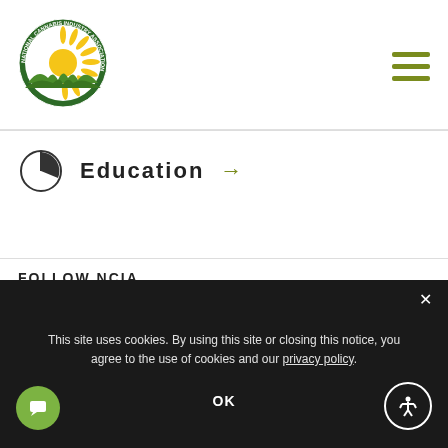[Figure (logo): NCIA (National Cannabis Industry Association) circular logo with green border, sun rays, and green field]
[Figure (other): Hamburger menu icon with three horizontal green lines]
Education →
Community →
FOLLOW NCIA
[Figure (other): Row of five partial circular social media icon outlines in gold/yellow]
This site uses cookies. By using this site or closing this notice, you agree to the use of cookies and our privacy policy.
OK